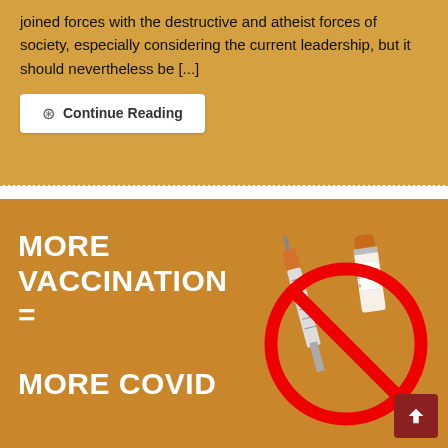joined forces with the destructive and atheist forces of society, especially considering the current leadership, but it should nevertheless be [...]
Continue Reading
[Figure (infographic): Anti-vaccination infographic on orange background with large white bold text reading 'MORE VACCINATION = MORE COVID' and two syringes/vaccine vials overlaid with a red prohibition circle-slash symbol. A dark red back-to-top arrow button is in the bottom right corner.]